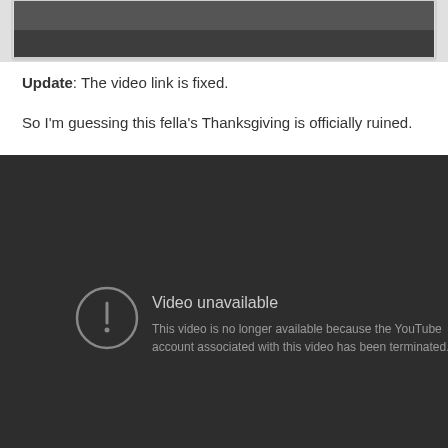[Figure (screenshot): Partial dark/grayscale image at the top, cropped, showing a dark figure or person]
Update: The video link is fixed.
So I'm guessing this fella's Thanksgiving is officially ruined.
[Figure (screenshot): YouTube 'Video unavailable' error screen on dark background. Shows an exclamation mark icon in a circle, text 'Video unavailable' and 'This video is no longer available because the YouTube account associated with this video has been terminated.']